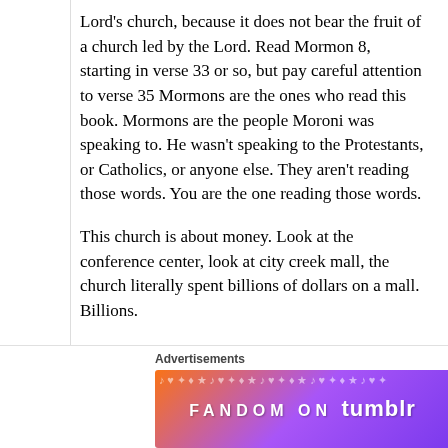Lord's church, because it does not bear the fruit of a church led by the Lord. Read Mormon 8, starting in verse 33 or so, but pay careful attention to verse 35 Mormons are the ones who read this book. Mormons are the people Moroni was speaking to. He wasn't speaking to the Protestants, or Catholics, or anyone else. They aren't reading those words. You are the one reading those words.
This church is about money. Look at the conference center, look at city creek mall, the church literally spent billions of dollars on a mall. Billions.
Advertisements
[Figure (other): Fandom on Tumblr advertisement banner with colorful gradient background (orange to purple) and white text reading FANDOM ON tumblr]